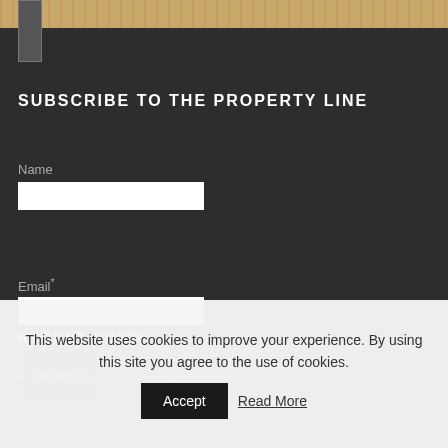[Figure (screenshot): Small logo icon in top left corner]
SUBSCRIBE TO THE PROPERTY LINE
Name
Email*
Submit
RECENT POSTS
» Fifth Circuit Applies Narrow Interpretation of Policy to Limit
This website uses cookies to improve your experience. By using this site you agree to the use of cookies.
Accept
Read More